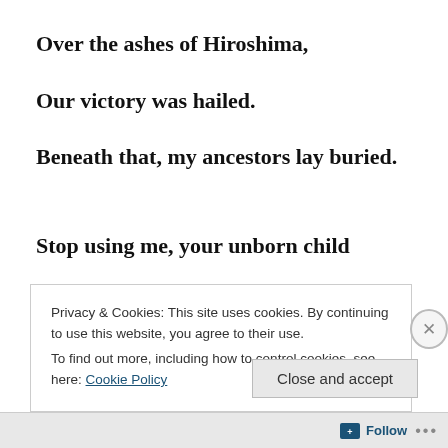Over the ashes of Hiroshima,
Our victory was hailed.
Beneath that, my ancestors lay buried.
Stop using me, your unborn child
Privacy & Cookies: This site uses cookies. By continuing to use this website, you agree to their use.
To find out more, including how to control cookies, see here: Cookie Policy
Close and accept
Follow ...